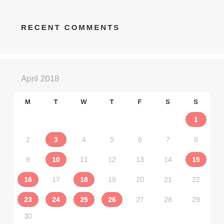RECENT COMMENTS
| M | T | W | T | F | S | S |
| --- | --- | --- | --- | --- | --- | --- |
|  |  |  |  |  |  | 1 |
| 2 | 3 | 4 | 5 | 6 | 7 | 8 |
| 9 | 10 | 11 | 12 | 13 | 14 | 15 |
| 16 | 17 | 18 | 19 | 20 | 21 | 22 |
| 23 | 24 | 25 | 26 | 27 | 28 | 29 |
| 30 |  |  |  |  |  |  |